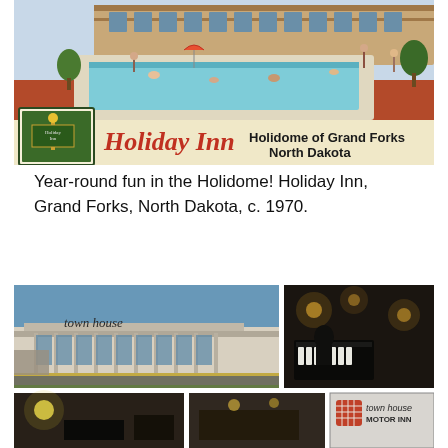[Figure (photo): Vintage postcard illustration of Holiday Inn Holidome of Grand Forks, North Dakota, showing an indoor/outdoor pool area with people swimming and sunbathing, brick building in background, with Holiday Inn logo and script lettering]
Year-round fun in the Holidome! Holiday Inn, Grand Forks, North Dakota, c. 1970.
[Figure (photo): Collage of vintage photos showing Town House Motor Inn: exterior of modern flat-roof building with 'town house' signage, dark interior lounge/bar photo, two smaller photos of interior spaces, and Town House Motor Inn logo with diamond pattern]